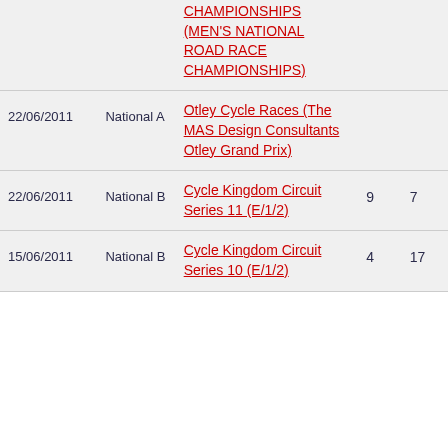| Date | Category | Race | Col4 | Col5 |
| --- | --- | --- | --- | --- |
|  |  | CHAMPIONSHIPS (MEN'S NATIONAL ROAD RACE CHAMPIONSHIPS) |  |  |
| 22/06/2011 | National A | Otley Cycle Races (The MAS Design Consultants Otley Grand Prix) |  |  |
| 22/06/2011 | National B | Cycle Kingdom Circuit Series 11 (E/1/2) | 9 | 7 |
| 15/06/2011 | National B | Cycle Kingdom Circuit Series 10 (E/1/2) | 4 | 17 |